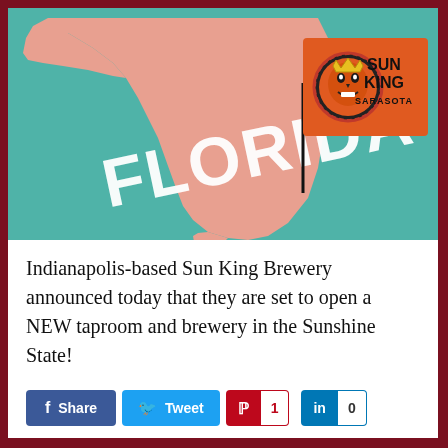[Figure (illustration): Graphic showing the state of Florida in salmon/pink color on a teal background, with the word FLORIDA written across it in large white letters, and a flag/banner in the upper right showing the Sun King Sarasota brewery logo (a face with a crown on a bottle cap) on an orange background with 'SUN KING SARASOTA' text in black.]
Indianapolis-based Sun King Brewery announced today that they are set to open a NEW taproom and brewery in the Sunshine State!